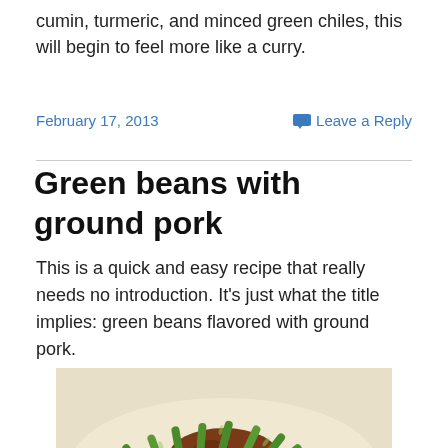cumin, turmeric, and minced green chiles, this will begin to feel more like a curry.
February 17, 2013
Leave a Reply
Green beans with ground pork
This is a quick and easy recipe that really needs no introduction. It's just what the title implies: green beans flavored with ground pork.
[Figure (photo): Photo of green beans stir-fried with ground pork, piled on a plate with a light background]